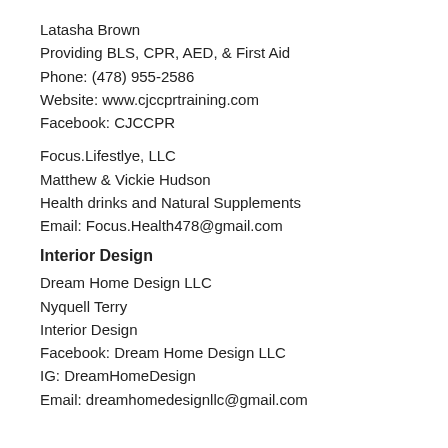Latasha Brown
Providing BLS, CPR, AED, & First Aid
Phone: (478) 955-2586
Website: www.cjccprtraining.com
Facebook: CJCCPR
Focus.Lifestlye, LLC
Matthew & Vickie Hudson
Health drinks and Natural Supplements
Email: Focus.Health478@gmail.com
Interior Design
Dream Home Design LLC
Nyquell Terry
Interior Design
Facebook: Dream Home Design LLC
IG: DreamHomeDesign
Email: dreamhomedesignllc@gmail.com